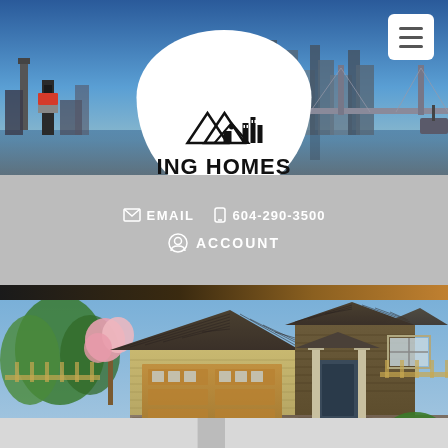[Figure (screenshot): Website screenshot of ING Homes real estate company. Top section shows city skyline (Vancouver) hero image with a white logo circle containing a house/city icon and 'ING HOMES' text. Navigation hamburger menu in top right. Below the hero is a gray contact bar with email and phone (604-290-3500) and an Account link. Below that is a photo of a craftsman-style house with garage. Bottom shows partial navigation buttons.]
ING HOMES
EMAIL  604-290-3500
ACCOUNT